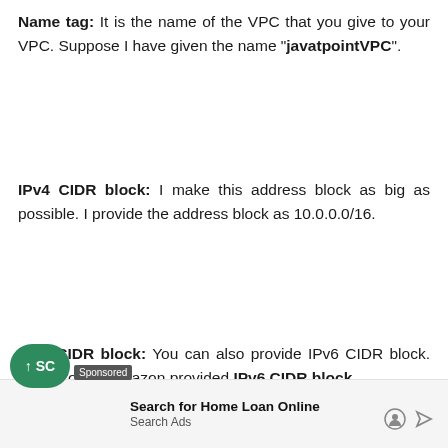Name tag: It is the name of the VPC that you give to your VPC. Suppose I have given the name "javatpointVPC".
IPv4 CIDR block: I make this address block as big as possible. I provide the address block as 10.0.0.0/16.
IPv6 CIDR block: You can also provide IPv6 CIDR block. So, I provide Amazon provided IPv6 CIDR block.